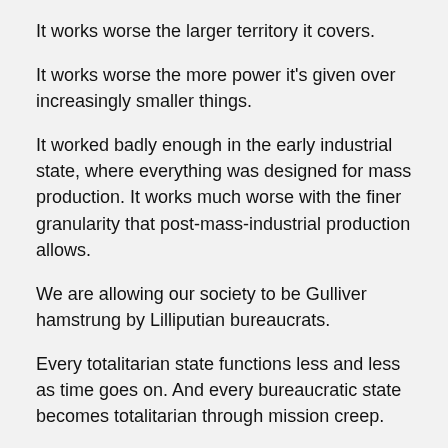It works worse the larger territory it covers.
It works worse the more power it's given over increasingly smaller things.
It worked badly enough in the early industrial state, where everything was designed for mass production. It works much worse with the finer granularity that post-mass-industrial production allows.
We are allowing our society to be Gulliver hamstrung by Lilliputian bureaucrats.
Every totalitarian state functions less and less as time goes on. And every bureaucratic state becomes totalitarian through mission creep.
You cannot trust a giant bureaucracy to keep your